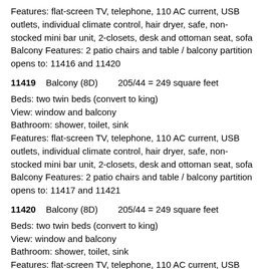Features: flat-screen TV, telephone, 110 AC current, USB outlets, individual climate control, hair dryer, safe, non-stocked mini bar unit, 2-closets, desk and ottoman seat, sofa
Balcony Features: 2 patio chairs and table / balcony partition opens to: 11416 and 11420
11419   Balcony (8D)   205/44 = 249 square feet
Beds: two twin beds (convert to king)
View: window and balcony
Bathroom: shower, toilet, sink
Features: flat-screen TV, telephone, 110 AC current, USB outlets, individual climate control, hair dryer, safe, non-stocked mini bar unit, 2-closets, desk and ottoman seat, sofa
Balcony Features: 2 patio chairs and table / balcony partition opens to: 11417 and 11421
11420   Balcony (8D)   205/44 = 249 square feet
Beds: two twin beds (convert to king)
View: window and balcony
Bathroom: shower, toilet, sink
Features: flat-screen TV, telephone, 110 AC current, USB outlets, individual climate control, hair dryer, safe, non-stocked mini bar